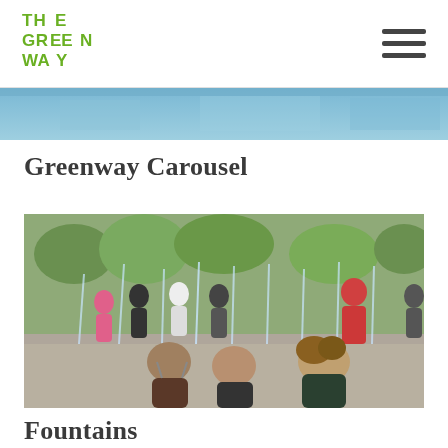The Greenway
[Figure (photo): Partial top strip of a photo showing blue tones, likely a fountain or water feature area]
Greenway Carousel
[Figure (photo): Children and adults playing in a fountain splash pad area with water jets, viewed from behind]
Fountains